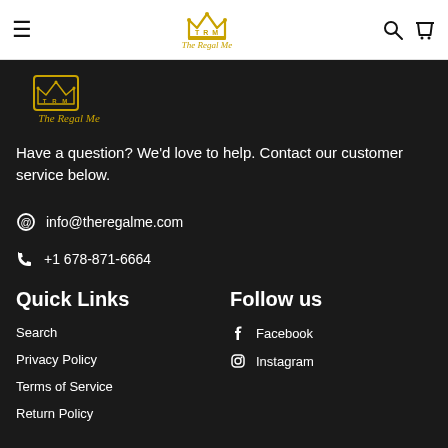Navigation bar with hamburger menu, The Regal Me crown logo, search icon, and cart icon
[Figure (logo): The Regal Me logo: a crown above TRM initials in a bordered box, with script text 'The Regal Me' below, in gold on dark background]
Have a question? We'd love to help. Contact our customer service below.
info@theregalme.com
+1 678-871-6664
Quick Links
Follow us
Search
Facebook
Privacy Policy
Instagram
Terms of Service
Return Policy